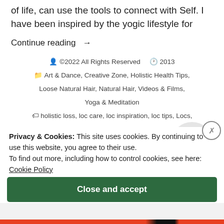of life, can use the tools to connect with Self. I have been inspired by the yogic lifestyle for
Continue reading →
©2022 All Rights Reserved   2013
Art & Dance, Creative Zone, Holistic Health Tips, Loose Natural Hair, Natural Hair, Videos & Films, Yoga & Meditation
holistic loss, loc care, loc inspiration, loc tips, Locs, natural beauty, natural hair
Leave a comment
Privacy & Cookies: This site uses cookies. By continuing to use this website, you agree to their use.
To find out more, including how to control cookies, see here:
Cookie Policy
Close and accept